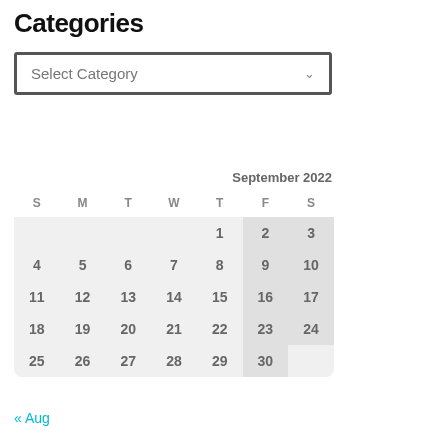Categories
Select Category
| S | M | T | W | T | F | S |
| --- | --- | --- | --- | --- | --- | --- |
|  |  |  |  | 1 | 2 | 3 |
| 4 | 5 | 6 | 7 | 8 | 9 | 10 |
| 11 | 12 | 13 | 14 | 15 | 16 | 17 |
| 18 | 19 | 20 | 21 | 22 | 23 | 24 |
| 25 | 26 | 27 | 28 | 29 | 30 |  |
« Aug